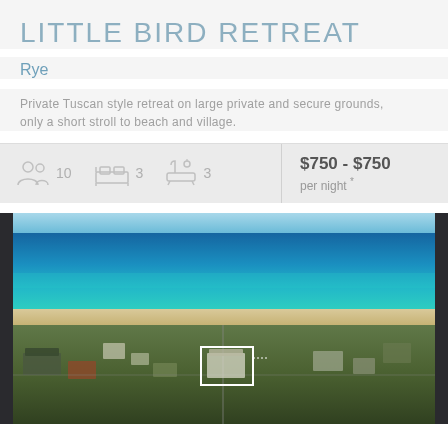LITTLE BIRD RETREAT
Rye
Private Tuscan style retreat on large private and secure grounds, only a short stroll to beach and village.
10 guests · 3 bedrooms · 3 bathrooms · $750 - $750 per night *
[Figure (photo): Aerial photograph of Little Bird Retreat property in Rye, showing the coastal suburb with beach and ocean in background. A white property boundary box marks the subject property.]